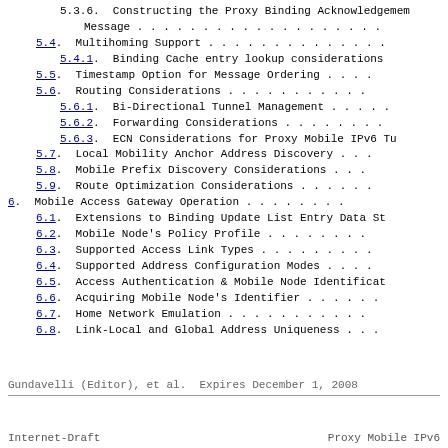5.3.6.  Constructing the Proxy Binding Acknowledgement Message . . . . . . . . . . . . . . . . . . .
5.4.  Multihoming Support . . . . . . . . . . . . . .
5.4.1.  Binding Cache entry lookup considerations
5.5.  Timestamp Option for Message Ordering . . . .
5.6.  Routing Considerations . . . . . . . . . . .
5.6.1.  Bi-Directional Tunnel Management . . . . .
5.6.2.  Forwarding Considerations . . . . . . . .
5.6.3.  ECN Considerations for Proxy Mobile IPv6 Tu
5.7.  Local Mobility Anchor Address Discovery . . .
5.8.  Mobile Prefix Discovery Considerations . . .
5.9.  Route Optimization Considerations . . . . . .
6.  Mobile Access Gateway Operation . . . . . . . .
6.1.  Extensions to Binding Update List Entry Data St
6.2.  Mobile Node's Policy Profile . . . . . . . .
6.3.  Supported Access Link Types . . . . . . . . .
6.4.  Supported Address Configuration Modes . . . .
6.5.  Access Authentication & Mobile Node Identificat
6.6.  Acquiring Mobile Node's Identifier . . . . . .
6.7.  Home Network Emulation . . . . . . . . . . .
6.8.  Link-Local and Global Address Uniqueness . . .
Gundavelli (Editor), et al.  Expires December 1, 2008
Internet-Draft                    Proxy Mobile IPv6